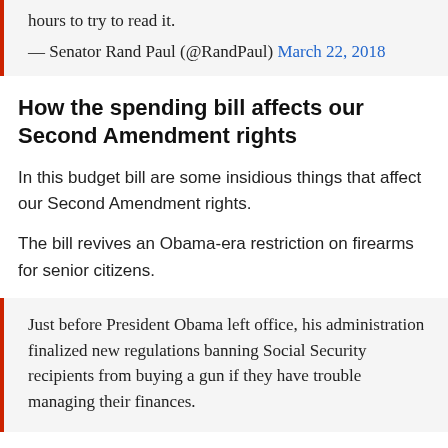hours to try to read it.
— Senator Rand Paul (@RandPaul) March 22, 2018
How the spending bill affects our Second Amendment rights
In this budget bill are some insidious things that affect our Second Amendment rights.
The bill revives an Obama-era restriction on firearms for senior citizens.
Just before President Obama left office, his administration finalized new regulations banning Social Security recipients from buying a gun if they have trouble managing their finances.